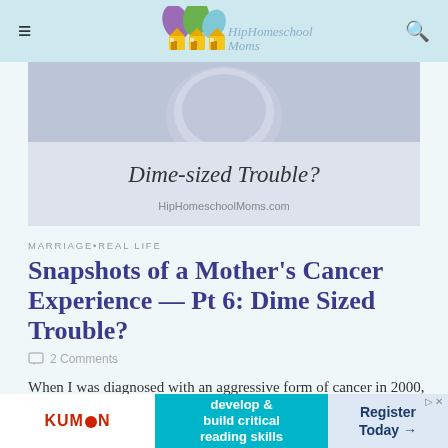Hip Homeschool Moms
[Figure (illustration): Blog post hero image showing a coin and the text 'Dime-sized Trouble?' with HipHomeschoolMoms.com watermark]
MARRIAGE•REAL LIFE
Snapshots of a Mother's Cancer Experience — Pt 6: Dime Sized Trouble?
2 Comments
When I was diagnosed with an aggressive form of cancer in 2000, I came face-to-face with my own mortality—and learned some profound lessons that
[Figure (other): Kumon advertisement banner: develop & build critical reading skills. Register Today.]